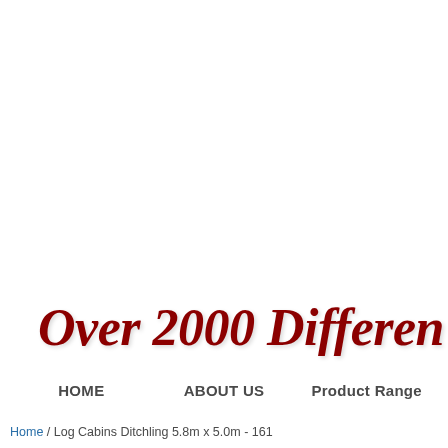Over 2000 Differen
HOME   ABOUT US   Product Range
Home / Log Cabins Ditchling 5.8m x 5.0m - 161